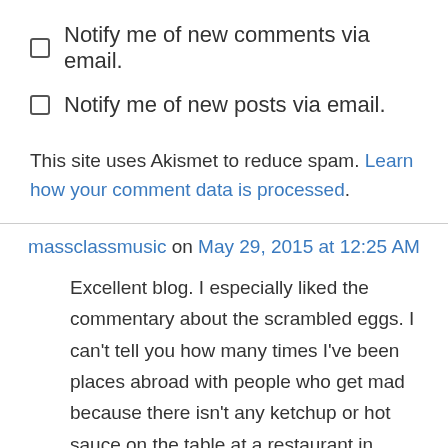Notify me of new comments via email.
Notify me of new posts via email.
This site uses Akismet to reduce spam. Learn how your comment data is processed.
massclassmusic on May 29, 2015 at 12:25 AM
Excellent blog. I especially liked the commentary about the scrambled eggs. I can’t tell you how many times I’ve been places abroad with people who get mad because there isn’t any ketchup or hot sauce on the table at a restaurant in France and then proceed to slather a filet mingon in Heinz or they ice will come in their glass in Germany. Anyone who has ever been to MOST